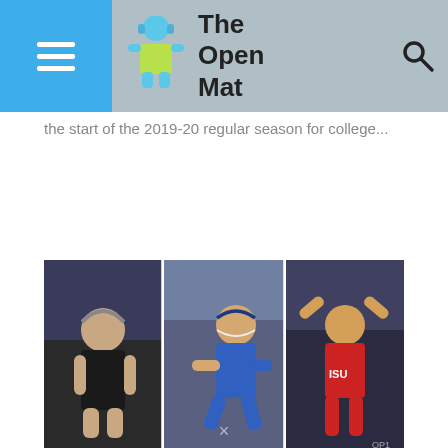The Open Mat
the start of the 2019-20 regular season for college...
[Figure (photo): Three wrestling photos side by side: a wrestler in black singlet, a wrestler in blue singlet mid-match, and a wrestler in red singlet celebrating with arms raised]
COLLEGE WRESTLING NEWS
The Five Previous Hodge Winners to Return to NCAA Competition
In 1995, the Hodge Trophy was handed out for the first time with senior TJ Jaworsky (North Carolina) winning the inaugural